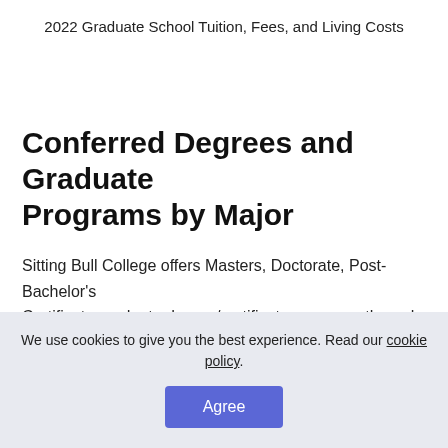2022 Graduate School Tuition, Fees, and Living Costs
Conferred Degrees and Graduate Programs by Major
Sitting Bull College offers Masters, Doctorate, Post-Bachelor's Certificate graduate degree/certificate programs through 3
We use cookies to give you the best experience. Read our cookie policy.